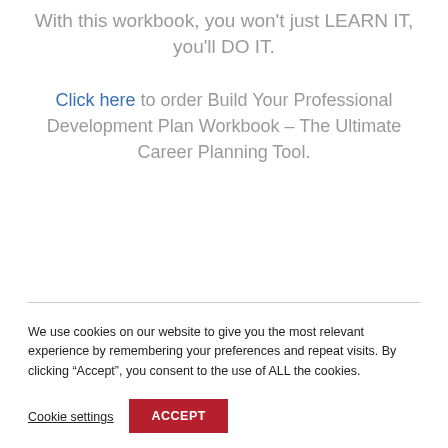With this workbook, you won't just LEARN IT, you'll DO IT.
Click here to order Build Your Professional Development Plan Workbook – The Ultimate Career Planning Tool.
We use cookies on our website to give you the most relevant experience by remembering your preferences and repeat visits. By clicking “Accept”, you consent to the use of ALL the cookies.
Cookie settings
ACCEPT